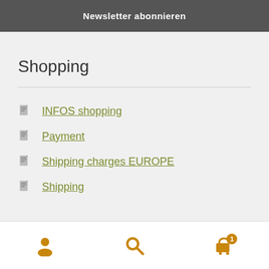Newsletter abonnieren
Shopping
INFOS shopping
Payment
Shipping charges EUROPE
Shipping
User icon, Search icon, Cart icon with badge 1